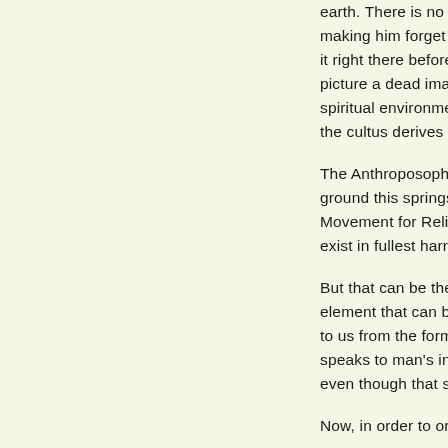earth. There is no s making him forget it right there before picture a dead ima spiritual environme the cultus derives f The Anthroposoph ground this springs Movement for Reli exist in fullest har But that can be the element that can b to us from the form speaks to man's inv even though that s Now, in order to or